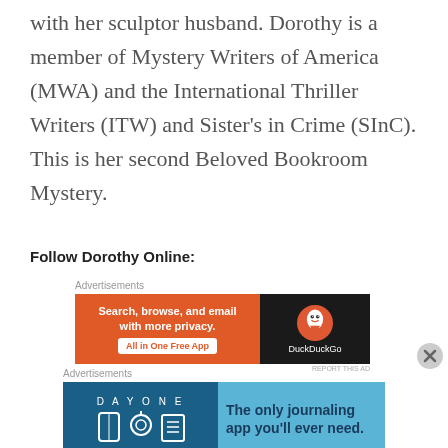with her sculptor husband. Dorothy is a member of Mystery Writers of America (MWA) and the International Thriller Writers (ITW) and Sister's in Crime (SInC). This is her second Beloved Bookroom Mystery.
Follow Dorothy Online:
[Figure (other): DuckDuckGo advertisement banner: orange left panel with text 'Search, browse, and email with more privacy. All in One Free App' and dark right panel with DuckDuckGo logo and name]
[Figure (other): Day One journaling app advertisement: dark blue left panel with 'DAY ONE' text and icons, light blue right panel with text 'The only journaling app you'll ever need.']